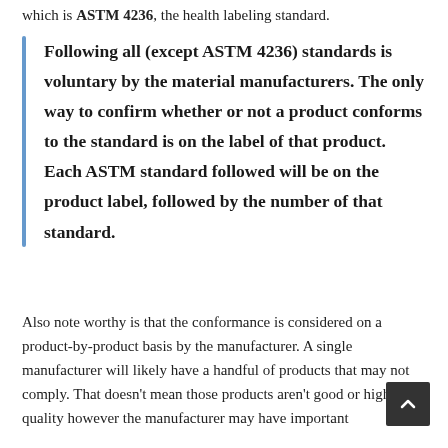which is ASTM 4236, the health labeling standard.
Following all (except ASTM 4236) standards is voluntary by the material manufacturers. The only way to confirm whether or not a product conforms to the standard is on the label of that product. Each ASTM standard followed will be on the product label, followed by the number of that standard.
Also note worthy is that the conformance is considered on a product-by-product basis by the manufacturer. A single manufacturer will likely have a handful of products that may not comply. That doesn't mean those products aren't good or high quality however the manufacturer may have important